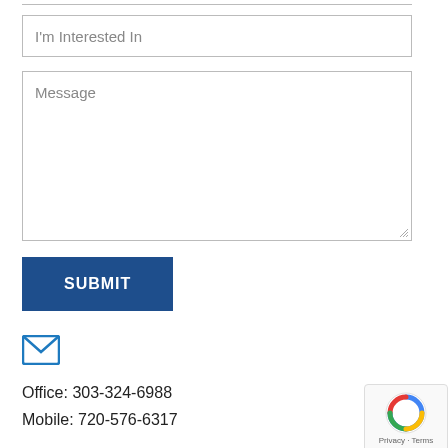I'm Interested In
Message
SUBMIT
[Figure (other): Email envelope icon in blue]
Office: 303-324-6988
Mobile: 720-576-6317
About
[Figure (other): Google reCAPTCHA badge with Privacy - Terms text]